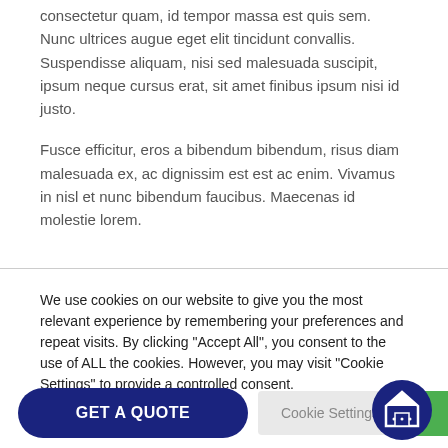consectetur quam, id tempor massa est quis sem. Nunc ultrices augue eget elit tincidunt convallis. Suspendisse aliquam, nisi sed malesuada suscipit, ipsum neque cursus erat, sit amet finibus ipsum nisi id justo.
Fusce efficitur, eros a bibendum bibendum, risus diam malesuada ex, ac dignissim est est ac enim. Vivamus in nisl et nunc bibendum faucibus. Maecenas id molestie lorem.
We use cookies on our website to give you the most relevant experience by remembering your preferences and repeat visits. By clicking "Accept All", you consent to the use of ALL the cookies. However, you may visit "Cookie Settings" to provide a controlled consent.